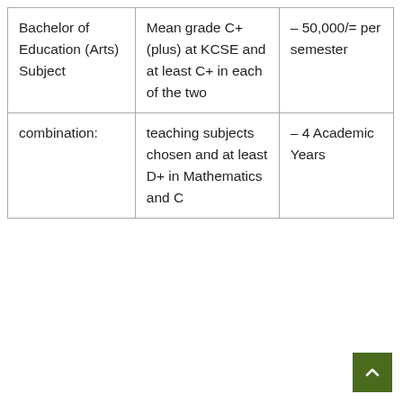| Bachelor of Education (Arts) Subject | Mean grade C+ (plus) at KCSE and at least C+ in each of the two | – 50,000/= per semester |
| combination: | teaching subjects chosen and at least D+ in Mathematics and C | – 4 Academic Years |